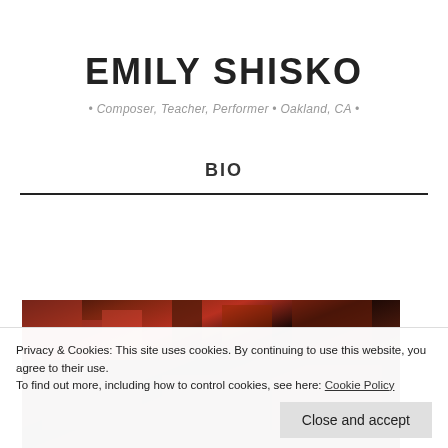EMILY SHISKO
• Composer, Teacher, Performer • Oakland, CA •
BIO
[Figure (photo): Partial photo of Emily Shisko, dark/warm toned image showing musical scene]
Privacy & Cookies: This site uses cookies. By continuing to use this website, you agree to their use.
To find out more, including how to control cookies, see here: Cookie Policy
Close and accept